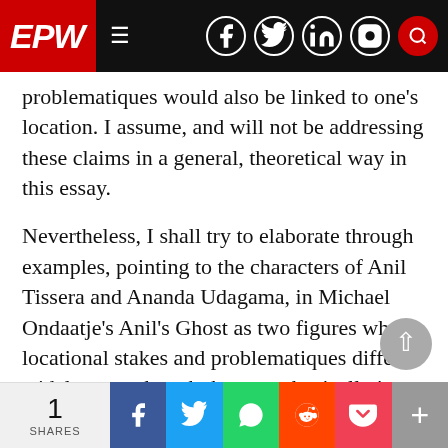EPW
problematiques would also be linked to one’s location. I assume, and will not be addressing these claims in a general, theoretical way in this essay.
Nevertheless, I shall try to elaborate through examples, pointing to the characters of Anil Tissera and Ananda Udagama, in Michael Ondaatje’s Anil’s Ghost as two figures whose locational stakes and problematiques differ widely, even though they are physically in the same place, and the same time, working on and working with the same material objects.
1 SHARES